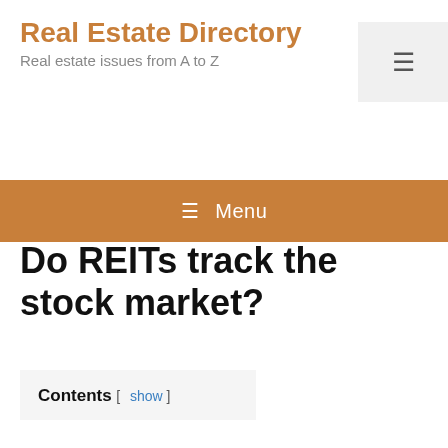Real Estate Directory
Real estate issues from A to Z
≡ Menu
Do REITs track the stock market?
Contents [ show ]